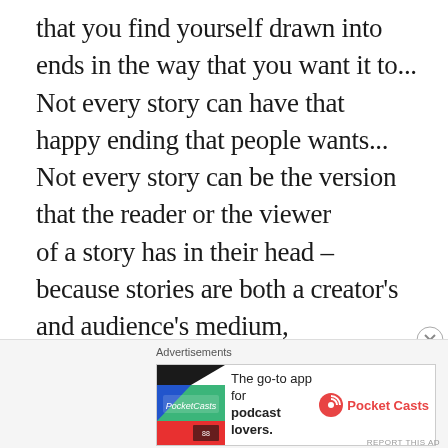that you find yourself drawn into ends in the way that you want it to... Not every story can have that happy ending that people wants... Not every story can be the version that the reader or the viewer of a story has in their head – because stories are both a creator's and audience's medium, and one in which there is not always a shared instinct into how a particular story should begin, progress, unveil itself, and ultimately end.
[Figure (other): Advertisement banner for Pocket Casts app with logo and text 'The go-to app for podcast lovers.']